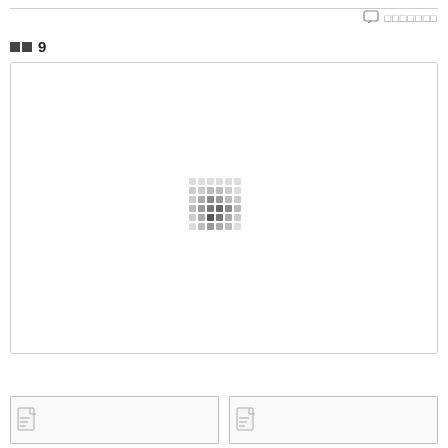□□□□□□□
□□ 9
[Figure (other): Large white content area with a small loading/placeholder dot-matrix pattern in the center]
[Figure (other): Two document thumbnail icons at the bottom of the page]